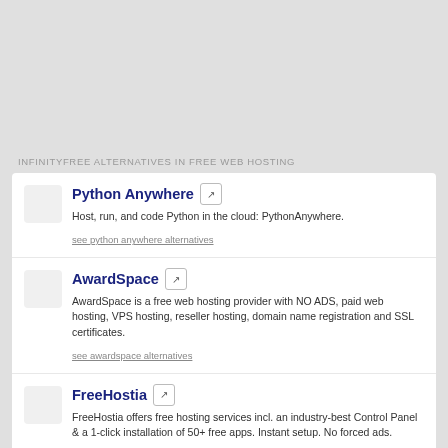INFINITYFREE ALTERNATIVES IN FREE WEB HOSTING
Python Anywhere
Host, run, and code Python in the cloud: PythonAnywhere.
see python anywhere alternatives
AwardSpace
AwardSpace is a free web hosting provider with NO ADS, paid web hosting, VPS hosting, reseller hosting, domain name registration and SSL certificates.
see awardspace alternatives
FreeHostia
FreeHostia offers free hosting services incl. an industry-best Control Panel & a 1-click installation of 50+ free apps. Instant setup. No forced ads.
see freehostia alternatives
X10Hosting